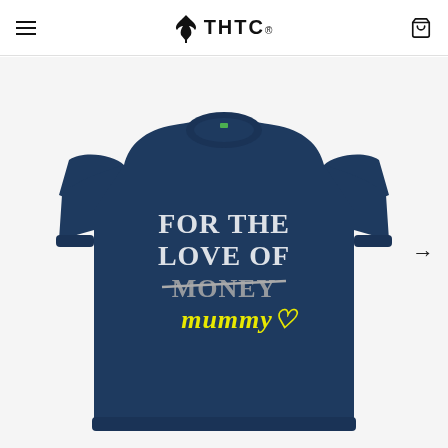THTC logo with hamburger menu and cart icon
[Figure (photo): Navy blue crew-neck sweatshirt with graphic print reading 'FOR THE LOVE OF MONEY' with 'MONEY' crossed out and 'mummy♡' written in yellow handwriting below.]